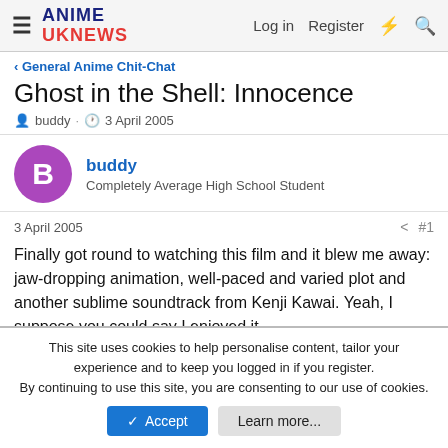ANIME UKNEWS | Log in  Register
General Anime Chit-Chat
Ghost in the Shell: Innocence
buddy · 3 April 2005
buddy
Completely Average High School Student
3 April 2005  #1
Finally got round to watching this film and it blew me away: jaw-dropping animation, well-paced and varied plot and another sublime soundtrack from Kenji Kawai. Yeah, I suppose you could say I enjoyed it..
This site uses cookies to help personalise content, tailor your experience and to keep you logged in if you register.
By continuing to use this site, you are consenting to our use of cookies.
Accept  Learn more...